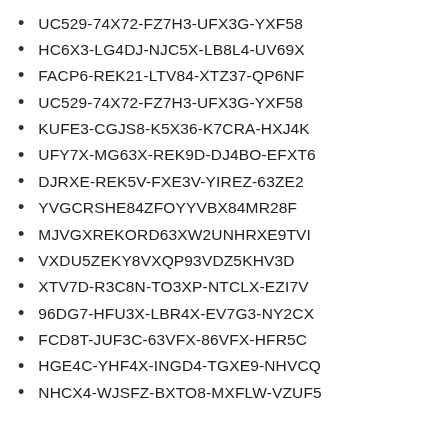UC529-74X72-FZ7H3-UFX3G-YXF58
HC6X3-LG4DJ-NJC5X-LB8L4-UV69X
FACP6-REK21-LTV84-XTZ37-QP6NF
UC529-74X72-FZ7H3-UFX3G-YXF58
KUFE3-CGJS8-K5X36-K7CRA-HXJ4K
UFY7X-MG63X-REK9D-DJ4BO-EFXT6
DJRXE-REK5V-FXE3V-YIREZ-63ZE2
YVGCRSHE84ZFOYYVBX84MR28F
MJVGXREKORD63XW2UNHRXE9TVI
VXDU5ZEKY8VXQP93VDZ5KHV3D
XTV7D-R3C8N-TO3XP-NTCLX-EZI7V
96DG7-HFU3X-LBR4X-EV7G3-NY2CX
FCD8T-JUF3C-63VFX-86VFX-HFR5C
HGE4C-YHF4X-INGD4-TGXE9-NHVCQ
NHCX4-WJSFZ-BXTO8-MXFLW-VZUF5